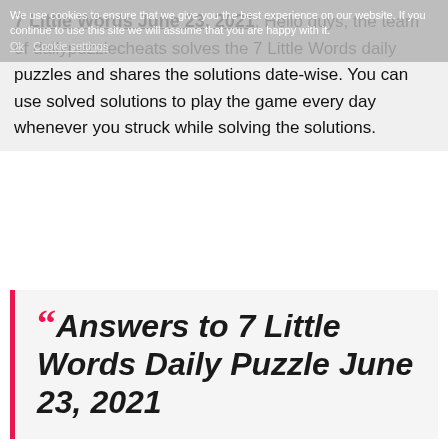7 Little Words June 23, 2021: Hello guys, the team of dailypuzzlecheats solves the 7 Little Words daily puzzles and shares the solutions date-wise. You can use solved solutions to play the game every day whenever you struck while solving the solutions.
"Answers to 7 Little Words Daily Puzzle June 23, 2021